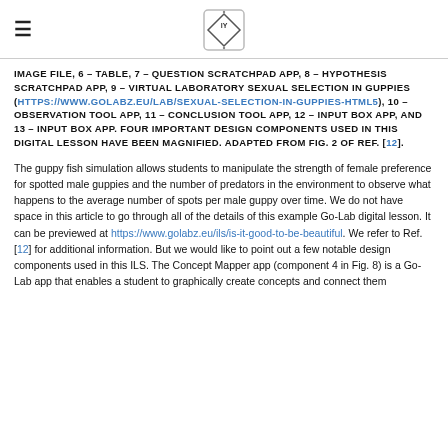≡  [logo]
IMAGE FILE, 6 – TABLE, 7 – QUESTION SCRATCHPAD APP, 8 – HYPOTHESIS SCRATCHPAD APP, 9 – VIRTUAL LABORATORY SEXUAL SELECTION IN GUPPIES (HTTPS://WWW.GOLABZ.EU/LAB/SEXUAL-SELECTION-IN-GUPPIES-HTML5), 10 – OBSERVATION TOOL APP, 11 – CONCLUSION TOOL APP, 12 – INPUT BOX APP, AND 13 – INPUT BOX APP. FOUR IMPORTANT DESIGN COMPONENTS USED IN THIS DIGITAL LESSON HAVE BEEN MAGNIFIED. ADAPTED FROM FIG. 2 OF REF. [12].
The guppy fish simulation allows students to manipulate the strength of female preference for spotted male guppies and the number of predators in the environment to observe what happens to the average number of spots per male guppy over time. We do not have space in this article to go through all of the details of this example Go-Lab digital lesson. It can be previewed at https://www.golabz.eu/ils/is-it-good-to-be-beautiful. We refer to Ref. [12] for additional information. But we would like to point out a few notable design components used in this ILS. The Concept Mapper app (component 4 in Fig. 8) is a Go-Lab app that enables a student to graphically create concepts and connect them